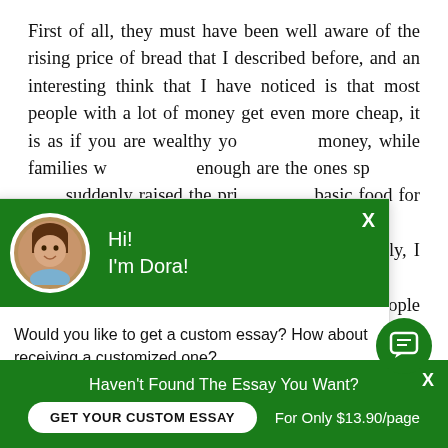First of all, they must have been well aware of the rising price of bread that I described before, and an interesting think that I have noticed is that most people with a lot of money get even more cheap, it is as if you are wealthy you struggle to spend money, while families w[...] enough are the ones sp[...] suddenly raised the pri[...] basic food for all Frenc[...] fill up his treasures to b[...] wars, they made sure t[...] Secondly, I think that m[...] o actually had the strong to ???war??? against th[...] poor people where probably so low in food tha[...]
[Figure (other): Chat popup with avatar of a woman named Dora, green header, and prompt asking if user would like a custom essay with a 'Click here' link]
[Figure (other): Green circular chat icon with message bubble symbol]
Haven't Found The Essay You Want?
GET YOUR CUSTOM ESSAY
For Only $13.90/page